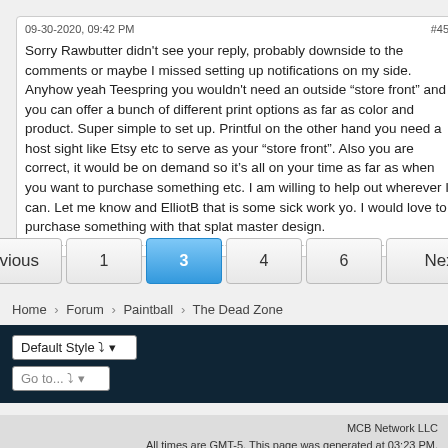09-30-2020, 09:42 PM
#45
Sorry Rawbutter didn't see your reply, probably downside to the comments or maybe I missed setting up notifications on my side. Anyhow yeah Teespring you wouldn't need an outside “store front” and you can offer a bunch of different print options as far as color and product. Super simple to set up. Printful on the other hand you need a host sight like Etsy etc to serve as your “store front”. Also you are correct, it would be on demand so it’s all on your time as far as when you want to purchase something etc. I am willing to help out wherever I can. Let me know and ElliotB that is some sick work yo. I would love to purchase something with that splat master design.
Previous 1 3 4 6 Next
Home > Forum > Paintball > The Dead Zone
Default Style
Go to...
MCB Network LLC
All times are GMT-5. This page was generated at 03:23 PM.